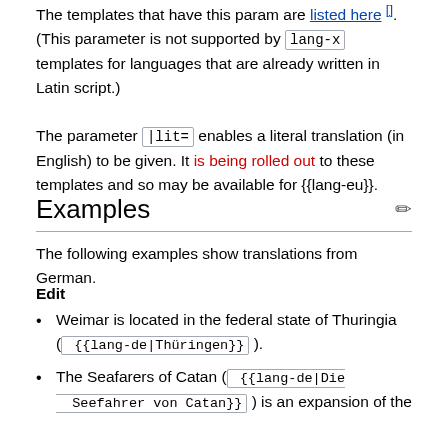The templates that have this param are listed here []. (This parameter is not supported by lang-x templates for languages that are already written in Latin script.)
The parameter |lit= enables a literal translation (in English) to be given. It is being rolled out to these templates and so may be available for {{lang-eu}}.
Examples
The following examples show translations from German.
Edit
Weimar is located in the federal state of Thuringia ( {{lang-de|Thüringen}} ).
The Seafarers of Catan ( {{lang-de|Die Seefahrer von Catan}} ) is an expansion of the